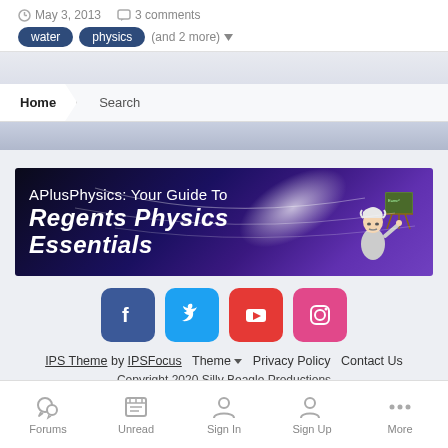May 3, 2013   3 comments
water  physics  (and 2 more)
Home  Search
[Figure (illustration): APlusPhysics: Your Guide To Regents Physics Essentials banner with Einstein character]
[Figure (infographic): Social media buttons: Facebook, Twitter, YouTube, Instagram]
IPS Theme by IPSFocus  Theme  Privacy Policy  Contact Us  Copyright 2020 Silly Beagle Productions  Powered by Invision Community
Forums  Unread  Sign In  Sign Up  More